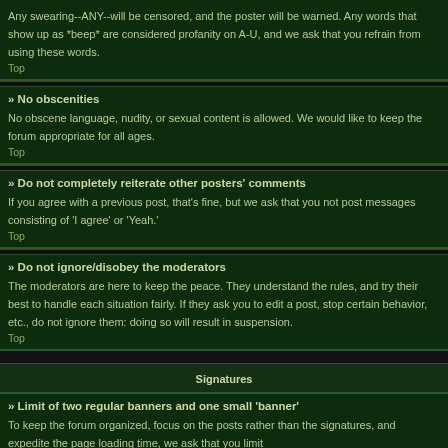Any swearing--ANY--will be censored, and the poster will be warned. Any words that show up as *beep* are considered profanity on A-U, and we ask that you refrain from using these words.
Top
» No obscenities
No obscene language, nudity, or sexual content is allowed. We would like to keep the forum appropriate for all ages.
Top
» Do not completely reiterate other posters' comments
If you agree with a previous post, that's fine, but we ask that you not post messages consisting of 'I agree' or 'Yeah.'
Top
» Do not ignore/disobey the moderators
The moderators are here to keep the peace. They understand the rules, and try their best to handle each situation fairly. If they ask you to edit a post, stop certain behavior, etc., do not ignore them: doing so will result in suspension.
Top
Signatures
» Limit of two regular banners and one small 'banner'
To keep the forum organized, focus on the posts rather than the signatures, and expedite the page loading time, we ask that you limit